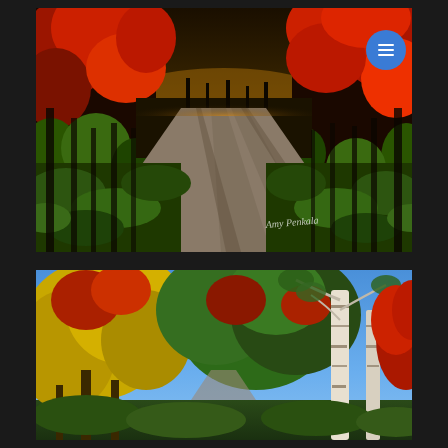[Figure (photo): HDR autumn landscape photo showing a dirt road receding into the distance, flanked by trees with vivid red, orange, and green fall foliage. Dark dramatic sky with golden horizon. A handwritten signature visible in lower right.]
[Figure (photo): Autumn landscape photo showing trees with red, yellow, and green foliage under a blue sky. A white birch tree is prominent on the right side. Road partially visible in distance.]